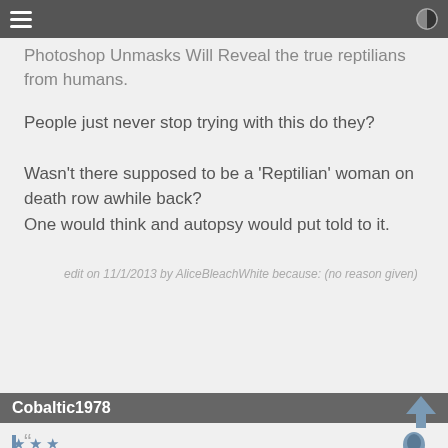Photoshop Unmasks Will Reveal the true reptilians from humans.
People just never stop trying with this do they?

Wasn't there supposed to be a 'Reptilian' woman on death row awhile back?
One would think and autopsy would put told to it.
edit on 11/1/2013 by AliceBleachWhite because: (no reason given)
Cobaltic1978
posted on Nov, 1 2013 @ 05:48 PM